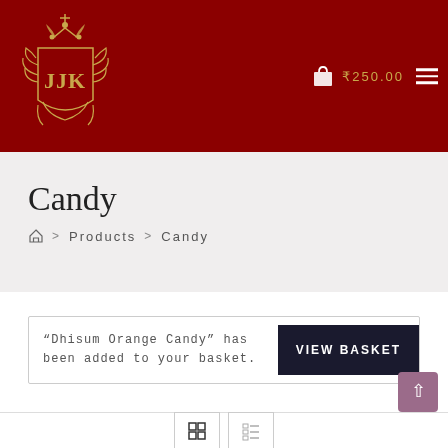[Figure (logo): JJK ornate royal crest logo in gold on dark red background]
₹250.00
Candy
Home > Products > Candy
"Dhisum Orange Candy" has been added to your basket.
VIEW BASKET